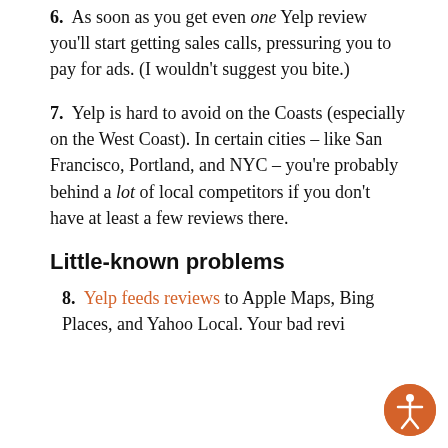6. As soon as you get even one Yelp review you'll start getting sales calls, pressuring you to pay for ads. (I wouldn't suggest you bite.)
7. Yelp is hard to avoid on the Coasts (especially on the West Coast). In certain cities – like San Francisco, Portland, and NYC – you're probably behind a lot of local competitors if you don't have at least a few reviews there.
Little-known problems
8. Yelp feeds reviews to Apple Maps, Bing Places, and Yahoo Local. Your bad reviews can show up there. So, in the absence of other review signals, those sites may show your Yelp rating.